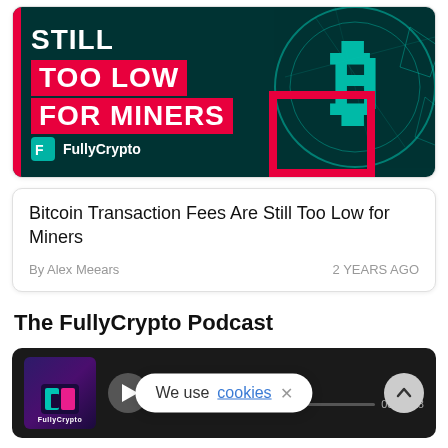[Figure (illustration): Article card showing a dark teal background with glowing Bitcoin symbol, text overlay reading STILL TOO LOW FOR MINERS in white bold text with red background blocks, FullyCrypto logo bottom left]
Bitcoin Transaction Fees Are Still Too Low for Miners
By Alex Meears   2 YEARS AGO
The FullyCrypto Podcast
[Figure (screenshot): Podcast player widget with dark background showing FullyCrypto logo thumbnail, play button, FullyCrypto Podcast title, progress bar with timestamps 00: and 00:10:38, cookie consent banner overlay reading We use cookies with X close button, scroll-up arrow button top right]
See all episodes...